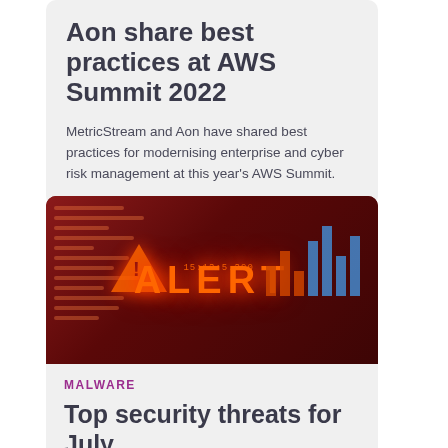Aon share best practices at AWS Summit 2022
MetricStream and Aon have shared best practices for modernising enterprise and cyber risk management at this year's AWS Summit.
[Figure (photo): Dark red cybersecurity alert image showing the word ALERT in orange glowing text with a warning triangle symbol, code lines on the left, and blue/orange bar graphs on the right]
MALWARE
Top security threats for July